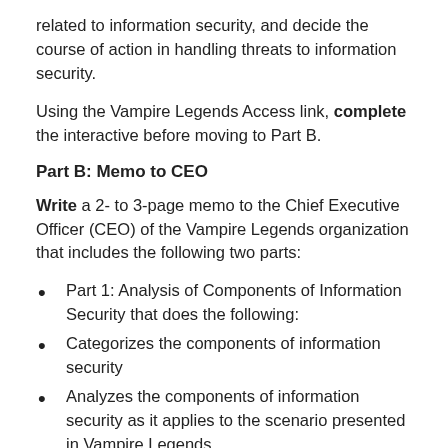related to information security, and decide the course of action in handling threats to information security.
Using the Vampire Legends Access link, complete the interactive before moving to Part B.
Part B: Memo to CEO
Write a 2- to 3-page memo to the Chief Executive Officer (CEO) of the Vampire Legends organization that includes the following two parts:
Part 1: Analysis of Components of Information Security that does the following:
Categorizes the components of information security
Analyzes the components of information security as it applies to the scenario presented in Vampire Legends
Contains a breakdown of the budget report
Discusses your allocation strategy based on the risks